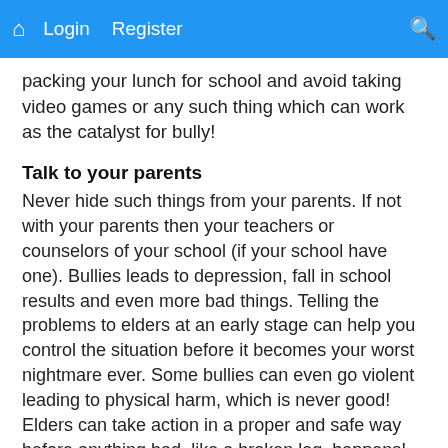Login  Register
packing your lunch for school and avoid taking video games or any such thing which can work as the catalyst for bully!
Talk to your parents
Never hide such things from your parents. If not with your parents then your teachers or counselors of your school (if your school have one). Bullies leads to depression, fall in school results and even more bad things. Telling the problems to elders at an early stage can help you control the situation before it becomes your worst nightmare ever. Some bullies can even go violent leading to physical harm, which is never good! Elders can take action in a proper and safe way before anything bad, like a broken leg, happens! Some bullies have even lead to suicides and hence you should not ignore and always tell your parents about it.